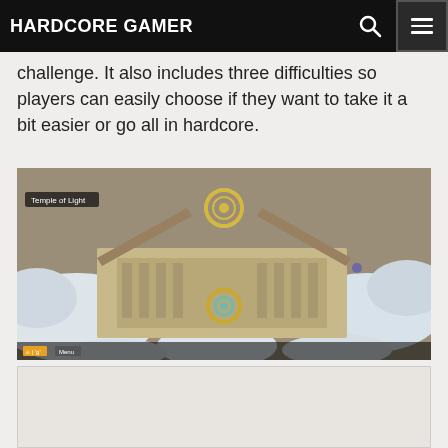HARDCORE GAMER
challenge. It also includes three difficulties so players can easily choose if they want to take it a bit easier or go all in hardcore.
[Figure (screenshot): Top-down isometric view of a game level called 'Temple of Light' covered in snow, showing ancient stone architecture with circular ornamental elements and a HUD bar at the bottom.]
[Figure (screenshot): Partially visible screenshot below the first one, showing a light gray/white game scene.]